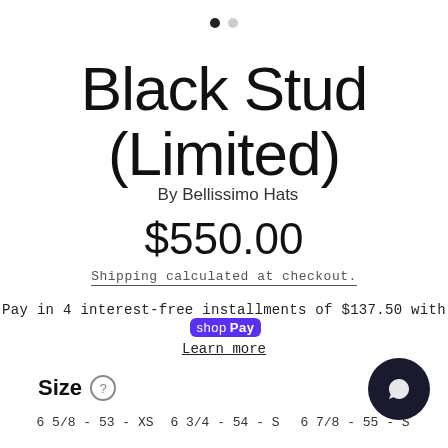[Figure (other): Page indicator dots: one filled black dot and one empty grey dot]
Black Stud (Limited)
By Bellissimo Hats
$550.00
Shipping calculated at checkout.
Pay in 4 interest-free installments of $137.50 with shop Pay
Learn more
Size ?
6 5/8 - 53 - XS   6 3/4 - 54 - S   6 7/8 - 55 - S